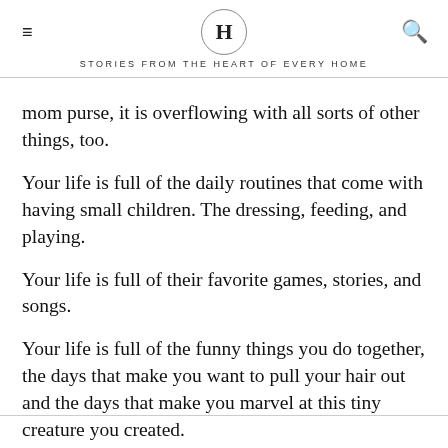H — STORIES FROM THE HEART OF EVERY HOME
mom purse, it is overflowing with all sorts of other things, too.
Your life is full of the daily routines that come with having small children. The dressing, feeding, and playing.
Your life is full of their favorite games, stories, and songs.
Your life is full of the funny things you do together, the days that make you want to pull your hair out and the days that make you marvel at this tiny creature you created.